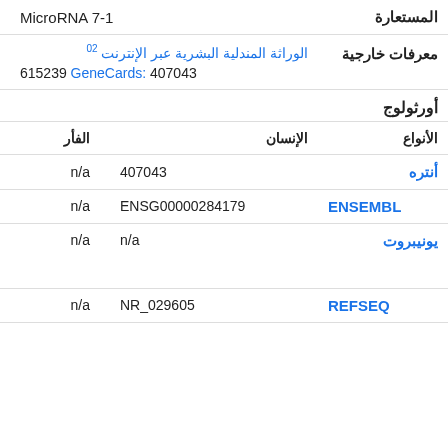| المستعارة | MicroRNA 7-1 |  |
| معرفات خارجية | الوراثة المندلية البشرية عبر الإنترنت 02 |  |
|  | GeneCards: 407043  615239 |  |
| أورثولوج |  |  |
| الأنواع | الإنسان | الفأر |
| أنتره | 407043 | n/a |
| ENSEMBL | ENSG00000284179 | n/a |
| يونيبروت | n/a | n/a |
| REFSEQ | NR_029605 | n/a |